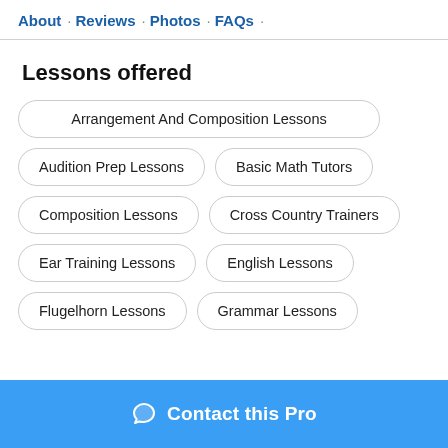About · Reviews · Photos · FAQs ·
Lessons offered
Arrangement And Composition Lessons
Audition Prep Lessons
Basic Math Tutors
Composition Lessons
Cross Country Trainers
Ear Training Lessons
English Lessons
Flugelhorn Lessons
Grammar Lessons
Contact this Pro